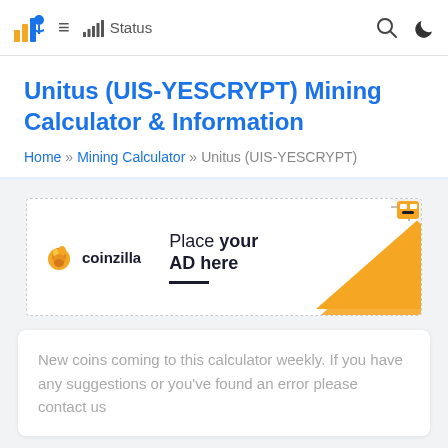≡  Status
Unitus (UIS-YESCRYPT) Mining Calculator & Information
Home » Mining Calculator » Unitus (UIS-YESCRYPT)
[Figure (other): Coinzilla advertisement placeholder — 'Place your AD here' with coinzilla logo and orange triangle graphic]
New coins coming to this calculator weekly. If you have any suggestions or you've found an error please contact us